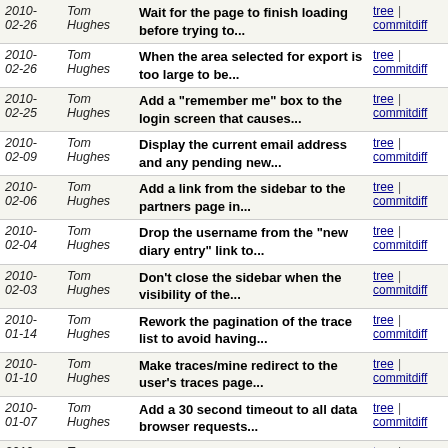| Date | Author | Message | Links |
| --- | --- | --- | --- |
| 2010-02-26 | Tom Hughes | Wait for the page to finish loading before trying to... | tree | commitdiff |
| 2010-02-26 | Tom Hughes | When the area selected for export is too large to be... | tree | commitdiff |
| 2010-02-25 | Tom Hughes | Add a "remember me" box to the login screen that causes... | tree | commitdiff |
| 2010-02-09 | Tom Hughes | Display the current email address and any pending new... | tree | commitdiff |
| 2010-02-06 | Tom Hughes | Add a link from the sidebar to the partners page in... | tree | commitdiff |
| 2010-02-04 | Tom Hughes | Drop the username from the "new diary entry" link to... | tree | commitdiff |
| 2010-02-03 | Tom Hughes | Don't close the sidebar when the visibility of the... | tree | commitdiff |
| 2010-01-14 | Tom Hughes | Rework the pagination of the trace list to avoid having... | tree | commitdiff |
| 2010-01-10 | Tom Hughes | Make traces/mine redirect to the user's traces page... | tree | commitdiff |
| 2010-01-07 | Tom Hughes | Add a 30 second timeout to all data browser requests... | tree | commitdiff |
| 2010-01-06 | Tom Hughes | Add a "More results" link to Nominatim search results. | tree | commitdiff |
| 2010-01-04 | Tom Hughes | Format block details more nicely. | tree | commitdiff |
| 2009-12-31 | Shaun McDonald | Rather than just say public or private for each GPS... | tree | commitdiff |